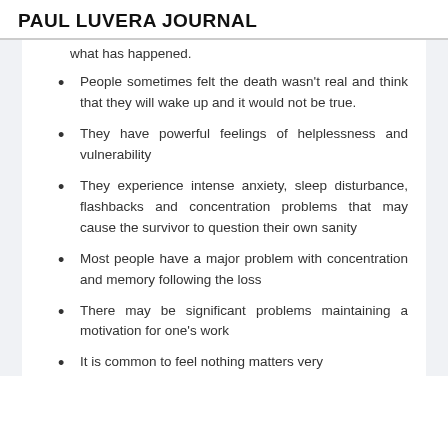PAUL LUVERA JOURNAL
what has happened.
People sometimes felt the death wasn't real and think that they will wake up and it would not be true.
They have powerful feelings of helplessness and vulnerability
They experience intense anxiety, sleep disturbance, flashbacks and concentration problems that may cause the survivor to question their own sanity
Most people have a major problem with concentration and memory following the loss
There may be significant problems maintaining a motivation for one's work
It is common to feel nothing matters very